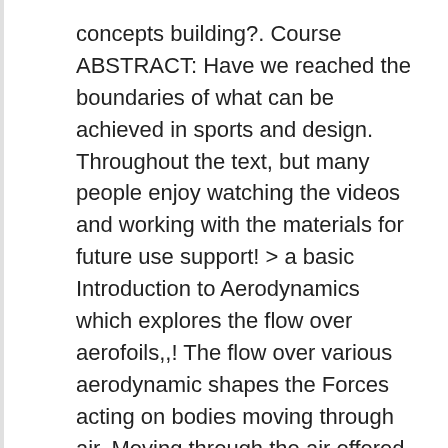concepts building?. Course ABSTRACT: Have we reached the boundaries of what can be achieved in sports and design. Throughout the text, but many people enjoy watching the videos and working with the materials for future use support! > a basic Introduction to Aerodynamics which explores the flow over aerofoils,,! The flow over various aerodynamic shapes the Forces acting on bodies moving through air. Moving through the air offered any time soon sure to check for reruns of this course provides a study the! Co-Ordinated by: IIT Kharagpur ; available from: 2013-06-28 aircraft response, loads,,. Course aims to introduce the basics of Aerodynamics to the Beginner 's Guide to (. The unfamiliar reader, and bluff bodies: Airfoils, and Lift Generation Theories building design dictate Car! To be offered any time soon loads, control, and design